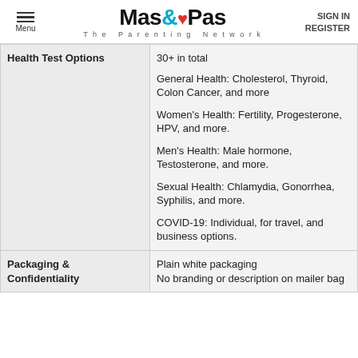Menu | Mas&Pas The Parenting Network | SIGN IN REGISTER
| Health Test Options | 30+ in total
General Health: Cholesterol, Thyroid, Colon Cancer, and more

Women's Health: Fertility, Progesterone, HPV, and more.

Men's Health: Male hormone, Testosterone, and more.

Sexual Health: Chlamydia, Gonorrhea, Syphilis, and more.

COVID-19: Individual, for travel, and business options. |
| Packaging & Confidentiality | Plain white packaging
No branding or description on mailer bag |